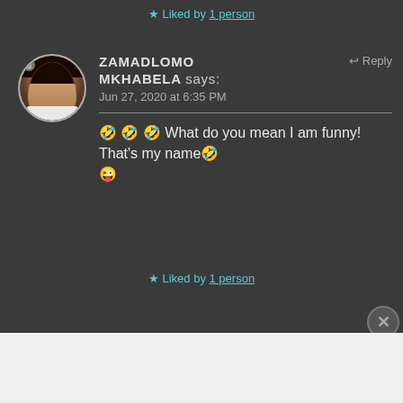★ Liked by 1 person
ZAMADLOMO MKHABELA says: Jun 27, 2020 at 6:35 PM
🤣🤣🤣 What do you mean I am funny! That's my name🤣 😜
★ Liked by 1 person
Advertisements
[Figure (logo): WordPress VIP logo and advertisement banner with Learn more button]